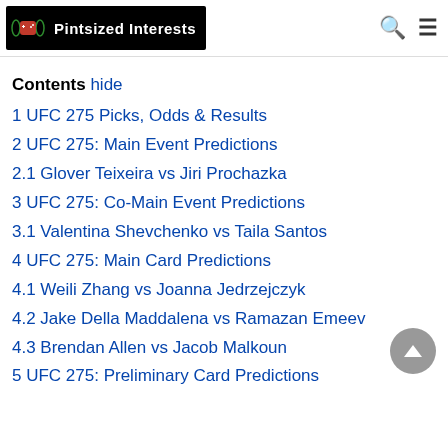Pintsized Interests
Contents hide
1 UFC 275 Picks, Odds & Results
2 UFC 275: Main Event Predictions
2.1 Glover Teixeira vs Jiri Prochazka
3 UFC 275: Co-Main Event Predictions
3.1 Valentina Shevchenko vs Taila Santos
4 UFC 275: Main Card Predictions
4.1 Weili Zhang vs Joanna Jedrzejczyk
4.2 Jake Della Maddalena vs Ramazan Emeev
4.3 Brendan Allen vs Jacob Malkoun
5 UFC 275: Preliminary Card Predictions